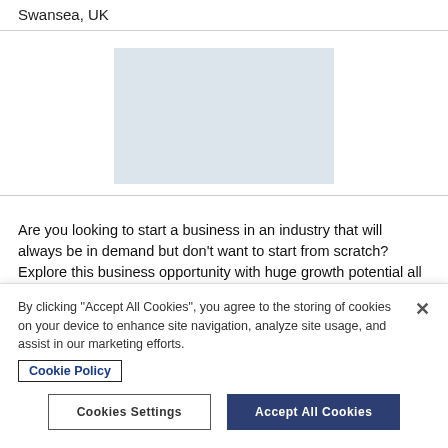Swansea, UK
[Figure (photo): Light blue-grey placeholder image rectangle]
Are you looking to start a business in an industry that will always be in demand but don't want to start from scratch? Explore this business opportunity with huge growth potential all under an... More details »
By clicking "Accept All Cookies", you agree to the storing of cookies on your device to enhance site navigation, analyze site usage, and assist in our marketing efforts.
Cookie Policy
Cookies Settings
Accept All Cookies